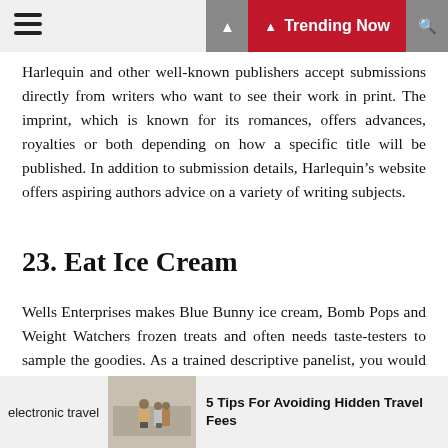Trending Now
Harlequin and other well-known publishers accept submissions directly from writers who want to see their work in print. The imprint, which is known for its romances, offers advances, royalties or both depending on how a specific title will be published. In addition to submission details, Harlequin’s website offers aspiring authors advice on a variety of writing subjects.
23. Eat Ice Cream
Wells Enterprises makes Blue Bunny ice cream, Bomb Pops and Weight Watchers frozen treats and often needs taste-testers to sample the goodies. As a trained descriptive panelist, you would provide feedback on the appearance, aroma, flavor and texture of a variety of the company’s products.
electronic travel | 5 Tips For Avoiding Hidden Travel Fees